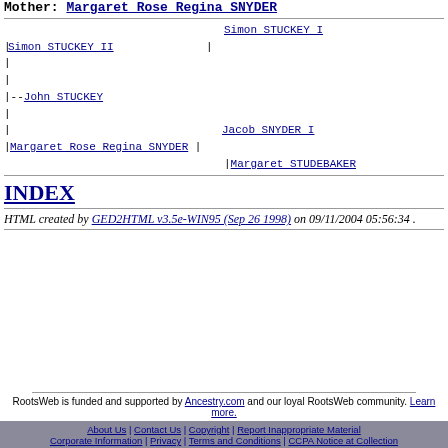Mother: Margaret Rose Regina SNYDER
[Figure (other): Genealogy pedigree chart showing ancestry of John STUCKEY. Simon STUCKEY II connects to Simon STUCKEY I above. John STUCKEY in middle. Margaret Rose Regina SNYDER connects to Jacob SNYDER I and Margaret STUDEBAKER.]
INDEX
HTML created by GED2HTML v3.5e-WIN95 (Sep 26 1998) on 09/11/2004 05:56:34 .
RootsWeb is funded and supported by Ancestry.com and our loyal RootsWeb community. Learn more.
About Us | Contact Us | Copyright | Report Inappropriate Material | Corporate Information | Privacy | Terms and Conditions | CCPA Notice at Collection